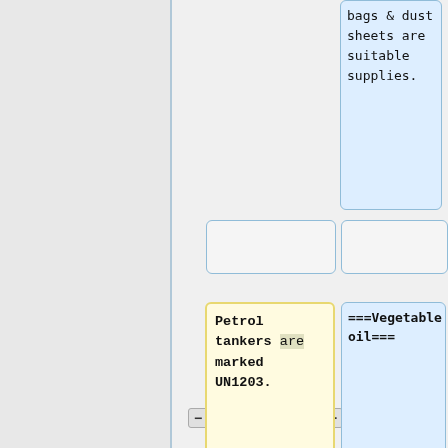bags & dust sheets are suitable supplies.
Petrol tankers are marked UN1203.
===Vegetable oil===
Several plant derived oils are used for cooking. These lubricate, but over time they gum up badly. This